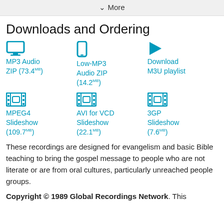✓ More
Downloads and Ordering
MP3 Audio ZIP (73.4MB)
Low-MP3 Audio ZIP (14.2MB)
Download M3U playlist
MPEG4 Slideshow (109.7MB)
AVI for VCD Slideshow (22.1MB)
3GP Slideshow (7.6MB)
These recordings are designed for evangelism and basic Bible teaching to bring the gospel message to people who are not literate or are from oral cultures, particularly unreached people groups.
Copyright © 1989 Global Recordings Network. This